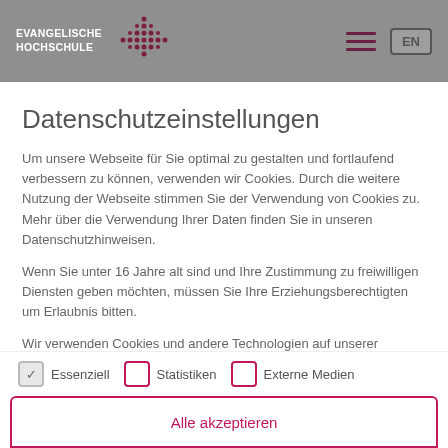EVANGELISCHE HOCHSCHULE
Datenschutzeinstellungen
Um unsere Webseite für Sie optimal zu gestalten und fortlaufend verbessern zu können, verwenden wir Cookies. Durch die weitere Nutzung der Webseite stimmen Sie der Verwendung von Cookies zu.
Mehr über die Verwendung Ihrer Daten finden Sie in unseren Datenschutzhinweisen.
Wenn Sie unter 16 Jahre alt sind und Ihre Zustimmung zu freiwilligen Diensten geben möchten, müssen Sie Ihre Erziehungsberechtigten um Erlaubnis bitten.
Wir verwenden Cookies und andere Technologien auf unserer Website. Einige von ihnen sind essenziell, während andere uns
Essenziell
Statistiken
Externe Medien
Alle akzeptieren